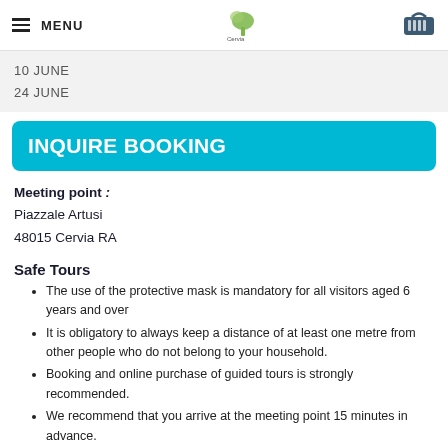MENU [Cervia logo] [basket icon]
10 JUNE
24 JUNE
INQUIRE BOOKING
Meeting point :
Piazzale Artusi
48015 Cervia RA
Safe Tours
The use of the protective mask is mandatory for all visitors aged 6 years and over
It is obligatory to always keep a distance of at least one metre from other people who do not belong to your household.
Booking and online purchase of guided tours is strongly recommended.
We recommend that you arrive at the meeting point 15 minutes in advance.
One person can enter the Tourist Information Office one at a